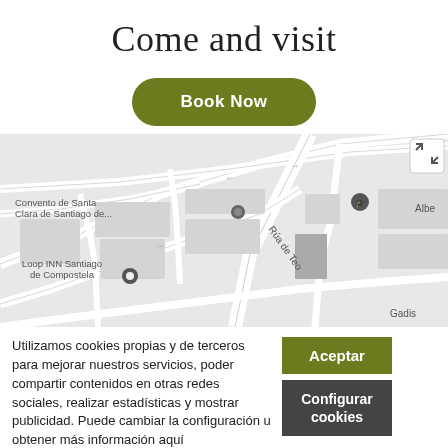Come and visit
Book Now
[Figure (map): Google Maps street map showing area around CEIP Apóstolo Santiago, Convento de Santa Clara de Santiago de..., Loop INN Santiago de Compostela, Rúa de Teo, Gadis, and Albe... with roads and buildings.]
Utilizamos cookies propias y de terceros para mejorar nuestros servicios, poder compartir contenidos en otras redes sociales, realizar estadísticas y mostrar publicidad. Puede cambiar la configuración u obtener más información aquí
Aceptar
Configurar cookies